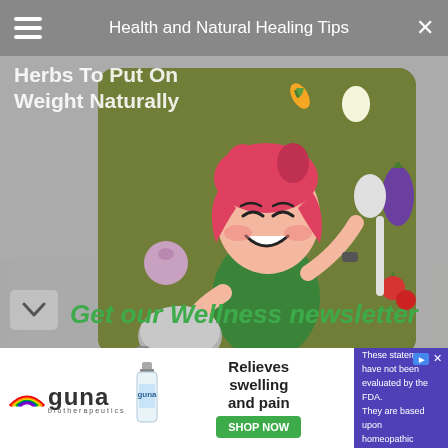Health and Natural Healing Tips
Herbs To Put On Weight Naturally
[Figure (illustration): Cartoon illustration of a happy red-haired woman in a green outfit holding a frying pan and a spoon, surrounded by floating vegetables (carrot, eggplant, tomatoes, onion, egg) on an olive-green background]
Get our Wellness newsletter
[Figure (advertisement): GUNA biotherapeutics advertisement with bottle image. Text reads: Relieves swelling and pain. SHOP NOW button. Disclaimer: These statements have not been evaluated by the FDA. They are based upon homeopathic principles.]